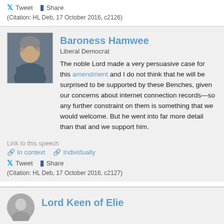Tweet  Share
(Citation: HL Deb, 17 October 2016, c2126)
Baroness Hamwee
Liberal Democrat
The noble Lord made a very persuasive case for this amendment and I do not think that he will be surprised to be supported by these Benches, given our concerns about internet connection records—so any further constraint on them is something that we would welcome. But he went into far more detail than that and we support him.
Link to this speech
In context  Individually
Tweet  Share
(Citation: HL Deb, 17 October 2016, c2127)
Lord Keen of Elie